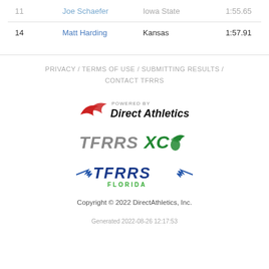| # | Name | School | Time |
| --- | --- | --- | --- |
| 11 | Joe Schaefer | Iowa State | 1:55.65 |
| 14 | Matt Harding | Kansas | 1:57.91 |
PRIVACY / TERMS OF USE / SUBMITTING RESULTS / CONTACT TFRRS
[Figure (logo): Powered by Direct Athletics logo with red swoosh icon and bold black italic text]
[Figure (logo): TFRRSXC logo in grey and green with winged foot icon]
[Figure (logo): TFRRS Florida logo in blue with wing decorations and green FLORIDA text]
Copyright © 2022 DirectAthletics, Inc.
Generated 2022-08-26 12:17:53